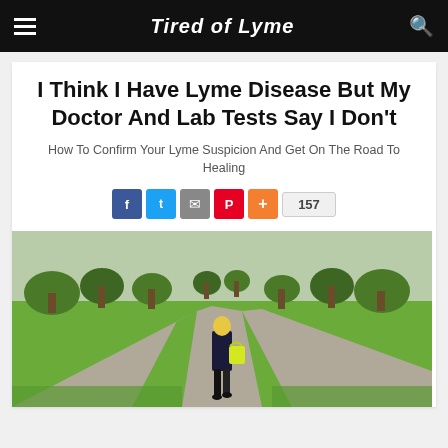Tired of Lyme
I Think I Have Lyme Disease But My Doctor And Lab Tests Say I Don't
How To Confirm Your Lyme Suspicion And Get On The Road To Healing
[Figure (photo): Woman walking alone down a forked path in a green park, wearing a dark coat and carrying a bright yellow bag, with trees in the background]